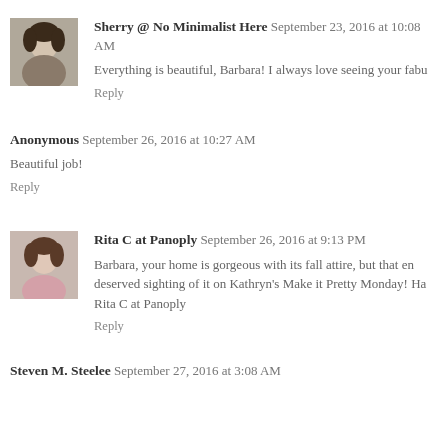[Figure (photo): Avatar photo of Sherry, a woman with dark hair]
Sherry @ No Minimalist Here September 23, 2016 at 10:08 AM
Everything is beautiful, Barbara! I always love seeing your fabu...
Reply
Anonymous September 26, 2016 at 10:27 AM
Beautiful job!
Reply
[Figure (photo): Avatar photo of Rita C, a woman with brown hair wearing pink]
Rita C at Panoply September 26, 2016 at 9:13 PM
Barbara, your home is gorgeous with its fall attire, but that en... deserved sighting of it on Kathryn's Make it Pretty Monday! Ha... Rita C at Panoply
Reply
Steven M. Steelee September 27, 2016 at 3:08 AM